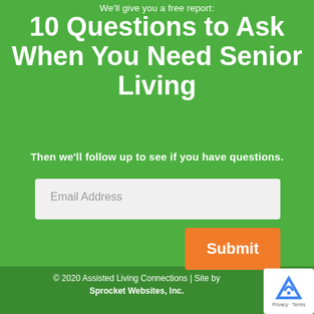We'll give you a free report:
10 Questions to Ask When You Need Senior Living
Then we'll follow up to see if you have questions.
[Figure (screenshot): Email address input field with light gray background]
[Figure (screenshot): Orange Submit button]
© 2020 Assisted Living Connections | Site by Sprocket Websites, Inc.